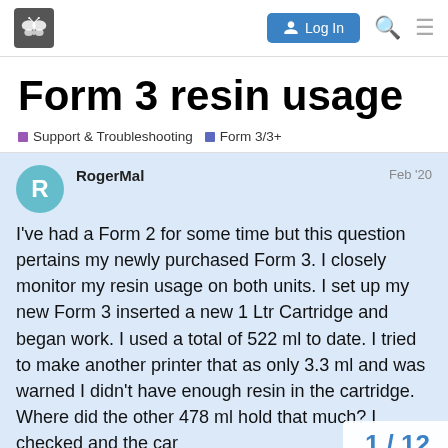Log In [navigation bar with logo, search, and menu icons]
Form 3 resin usage
Support & Troubleshooting   Form 3/3+
RogerMal   Feb '20
I've had a Form 2 for some time but this question pertains my newly purchased Form 3. I closely monitor my resin usage on both units. I set up my new Form 3 inserted a new 1 Ltr Cartridge and began work. I used a total of 522 ml to date. I tried to make another printer that as only 3.3 ml and was warned I didn't have enough resin in the cartridge. Where did the other 478 ml hold that much? I checked and the car
1 / 12